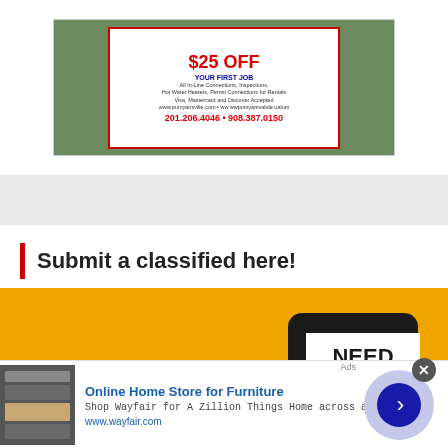[Figure (infographic): Green background advertisement banner showing '$25 OFF YOUR FIRST JOB' with service details and phone numbers 201.206.4046 and 908.387.0150]
Submit a classified here!
[Figure (infographic): Yellow/orange call-to-action banner with 'CLICK' in large white italic text on the left and a smartphone on the right showing 'NEED to submit' on its screen with a clock icon]
[Figure (infographic): Wayfair advertisement banner: 'Online Home Store for Furniture' with appliance image, text 'Shop Wayfair for A Zillion Things Home across all styles' and URL www.wayfair.com, with arrow navigation button]